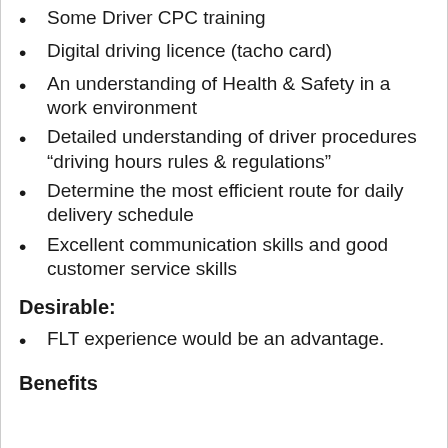Some Driver CPC training
Digital driving licence (tacho card)
An understanding of Health & Safety in a work environment
Detailed understanding of driver procedures “driving hours rules & regulations”
Determine the most efficient route for daily delivery schedule
Excellent communication skills and good customer service skills
Desirable:
FLT experience would be an advantage.
Benefits